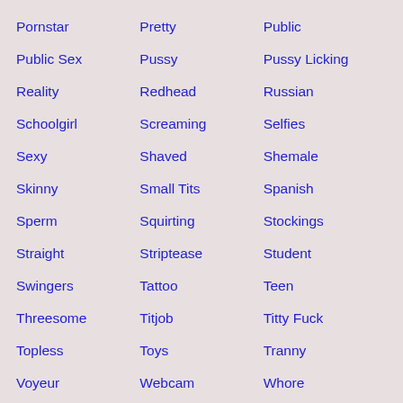Pornstar
Pretty
Public
Public Sex
Pussy
Pussy Licking
Reality
Redhead
Russian
Schoolgirl
Screaming
Selfies
Sexy
Shaved
Shemale
Skinny
Small Tits
Spanish
Sperm
Squirting
Stockings
Straight
Striptease
Student
Swingers
Tattoo
Teen
Threesome
Titjob
Titty Fuck
Topless
Toys
Tranny
Voyeur
Webcam
Whore
Wife
Young